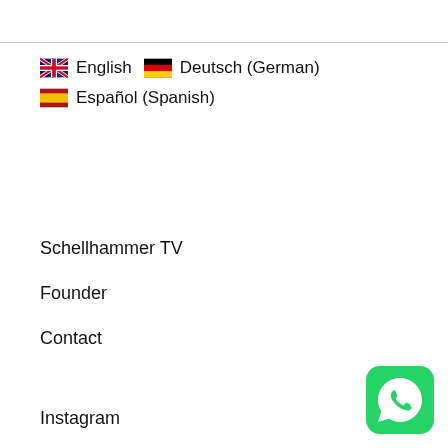🇬🇧 English   🇩🇪 Deutsch (German)
🇪🇸 Español (Spanish)
Schellhammer TV
Founder
Contact
Instagram
[Figure (logo): WhatsApp green rounded square icon with white phone/chat bubble logo in bottom right corner]